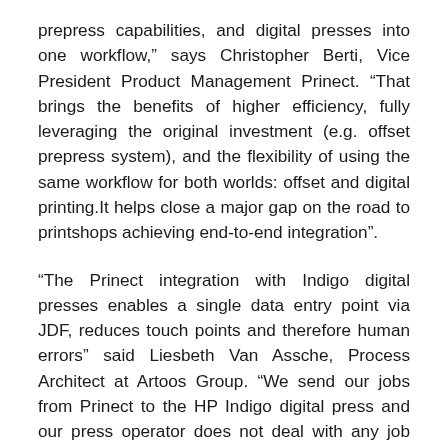prepress capabilities, and digital presses into one workflow,” says Christopher Berti, Vice President Product Management Prinect. “That brings the benefits of higher efficiency, fully leveraging the original investment (e.g. offset prepress system), and the flexibility of using the same workflow for both worlds: offset and digital printing.It helps close a major gap on the road to printshops achieving end-to-end integration”.
“The Prinect integration with Indigo digital presses enables a single data entry point via JDF, reduces touch points and therefore human errors” said Liesbeth Van Assche, Process Architect at Artoos Group. “We send our jobs from Prinect to the HP Indigo digital press and our press operator does not deal with any job parameter settings, file preparation, imposition, or proofing. Press operators are 100% focused on printing the job and insuring the quality of the job”.